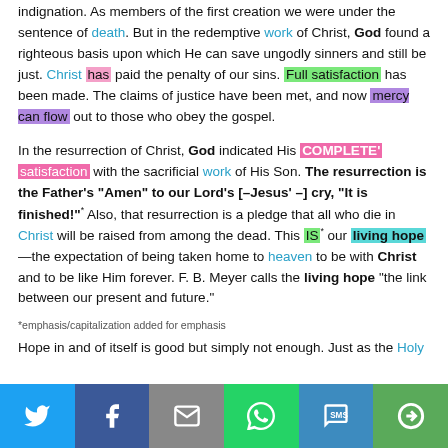indignation. As members of the first creation we were under the sentence of death. But in the redemptive work of Christ, God found a righteous basis upon which He can save ungodly sinners and still be just. Christ has paid the penalty of our sins. Full satisfaction has been made. The claims of justice have been met, and now mercy can flow out to those who obey the gospel.
In the resurrection of Christ, God indicated His COMPLETE satisfaction with the sacrificial work of His Son. The resurrection is the Father's “Amen” to our Lord’s [–Jesus’ –] cry, “It is finished!” Also, that resurrection is a pledge that all who die in Christ will be raised from among the dead. This IS* our living hope—the expectation of being taken home to heaven to be with Christ and to be like Him forever. F. B. Meyer calls the living hope “the link between our present and future.”
*emphasis/capitalization added for emphasis
Hope in and of itself is good but simply not enough. Just as the Holy
[Figure (other): Social media share bar with Twitter, Facebook, Email, WhatsApp, SMS, and More buttons]